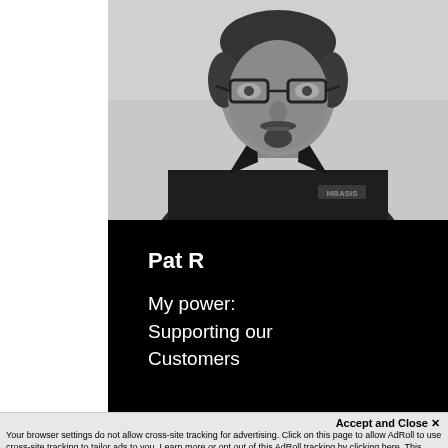[Figure (photo): Black and white portrait photo of a man with glasses and a goatee, wearing a dark polo shirt with a logo on it, against a light background.]
Pat R
My power: Supporting our Customers
Accept and Close ✕
Your browser settings do not allow cross-site tracking for advertising. Click on this page to allow AdRoll to use cross-site tracking to tailor ads to you. Learn more or opt out of this AdRoll tracking by clicking here. This message only appears once.